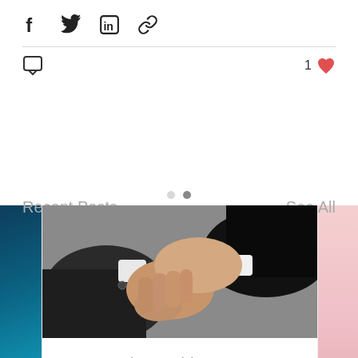[Figure (infographic): Social share icons: Facebook (f), Twitter bird, LinkedIn (in), and link/chain icon]
[Figure (infographic): Comment bubble icon and like count: 1 with red heart icon]
Recent Posts
See All
[Figure (photo): Carousel of blog post thumbnails. Center image shows two people in dark suits shaking hands against a grey background. Left sliver shows a teal/blue tech image. Right sliver shows a pink/rose toned image.]
Progress in Washington
[Figure (infographic): Comment bubble icon with count 0, and red heart like icon]